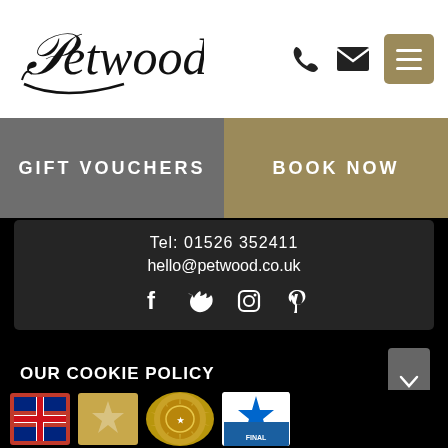[Figure (logo): Petwood hotel logo in italic serif font with decorative swash]
[Figure (infographic): Phone icon, envelope icon, and gold hamburger menu icon in header]
GIFT VOUCHERS
BOOK NOW
Tel: 01526 352411
hello@petwood.co.uk
[Figure (infographic): Social media icons: Facebook, Twitter, Instagram, Pinterest]
OUR COOKIE POLICY
We use cookies on our website.
Accept Cookies
[Figure (infographic): Award badge icons at bottom of page - multiple award logos partially visible]